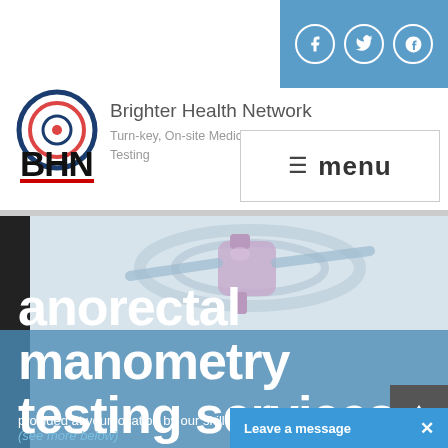[Figure (logo): Brighter Health Network BHN logo with circular target icon in blue/red and bold BHN text with red underline]
Brighter Health Network
Turn-key, On-site Medical Testing
[Figure (other): Social media icons bar with Facebook, Twitter, and Google+ circular buttons on blue background]
[Figure (other): Hamburger menu button with three lines icon and 'menu' label]
[Figure (photo): Medical equipment photo showing IV catheter/tubing on light grey background]
anorectal manometry testing services
provided at your location by our skilled nurse
(see more below)
[Figure (other): Leave a message chat button bar in blue at bottom right with X close button]